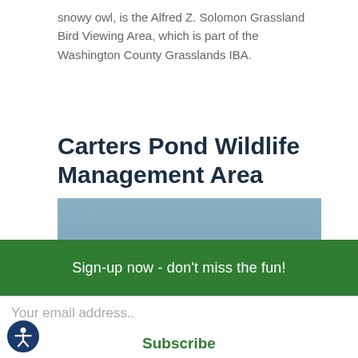snowy owl, is the Alfred Z. Solomon Grassland Bird Viewing Area, which is part of the Washington County Grasslands IBA.
Carters Pond Wildlife Management Area
[Figure (photo): Three Canada geese running/taking off on the surface of a pond, with splashing water and a blue-grey water background.]
Sign-up now - don't miss the fun!
Your email address..
Subscribe